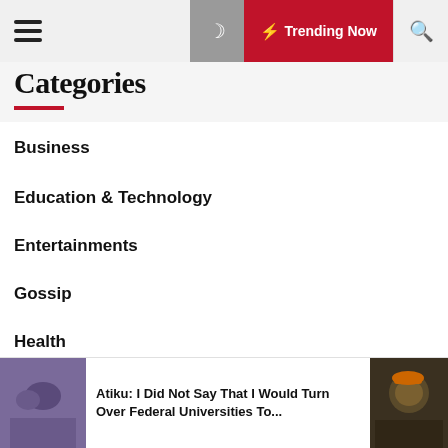Trending Now
Categories
Business
Education & Technology
Entertainments
Gossip
Health
International News
Atiku: I Did Not Say That I Would Turn Over Federal Universities To...